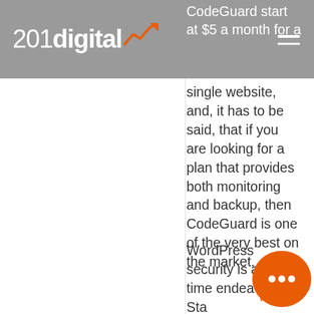201digital
CodeGuard start at $5 a month for a single website, and, it has to be said, that if you are looking for a plan that provides both monitoring and backup, then CodeGuard is one of the very best on the market.
WordPress security is a full-time endeavour. Sta... ahead of attacks... regular monitoring